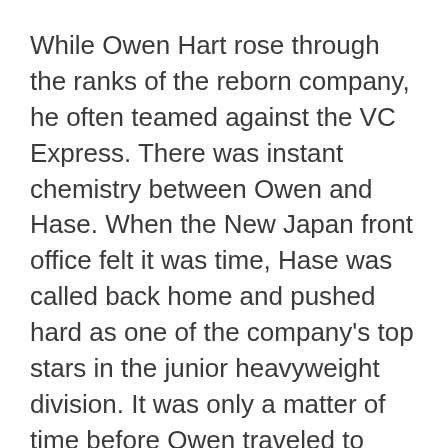While Owen Hart rose through the ranks of the reborn company, he often teamed against the VC Express. There was instant chemistry between Owen and Hase. When the New Japan front office felt it was time, Hase was called back home and pushed hard as one of the company's top stars in the junior heavyweight division. It was only a matter of time before Owen traveled to Japan for his first tour of NJPW.
In 1987, Owen Hart had a style much different than his brothers. It was more athletic and acrobatic with a flow that didn't quite fit in the WWF at the time. Upon arriving in Japan, Hart discovered he fit right in with the burgeoning Junior Heavyweight scene. The